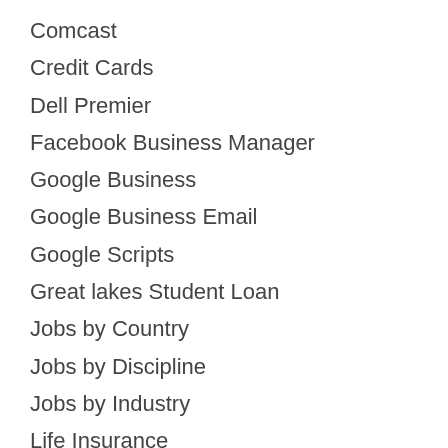Comcast
Credit Cards
Dell Premier
Facebook Business Manager
Google Business
Google Business Email
Google Scripts
Great lakes Student Loan
Jobs by Country
Jobs by Discipline
Jobs by Industry
Life Insurance